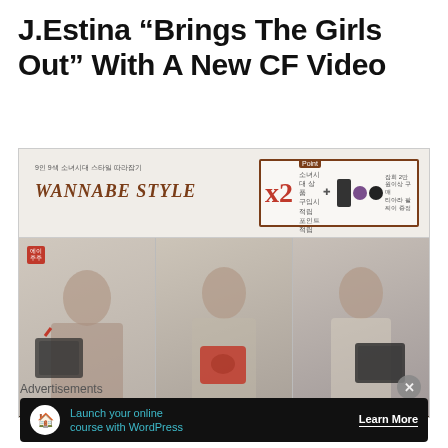J.Estina “Brings The Girls Out” With A New CF Video
[Figure (screenshot): Screenshot of J.Estina website showing 'WANNABE STYLE' promotional banner with three female models holding handbags and prices listed below: 379,000 / 475,000 / 445,000]
Advertisements
[Figure (infographic): Advertisement banner: 'Launch your online course with WordPress' with Learn More button on dark background]